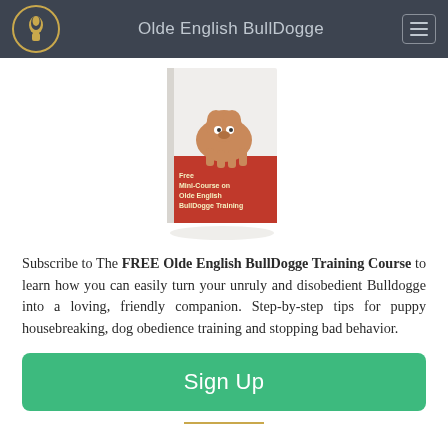Olde English BullDogge
[Figure (illustration): Book cover for 'Free Mini-Course on Olde English BullDogge Training' featuring an English Bulldog standing on a red background]
Subscribe to The FREE Olde English BullDogge Training Course to learn how you can easily turn your unruly and disobedient Bulldogge into a loving, friendly companion. Step-by-step tips for puppy housebreaking, dog obedience training and stopping bad behavior.
Sign Up